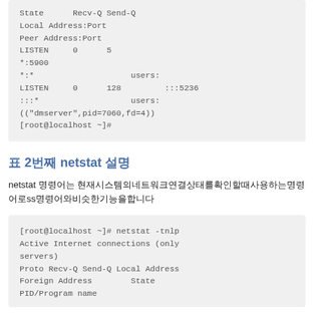[Figure (screenshot): Terminal code block showing ss command output with State, Recv-Q, Send-Q, Local Address:Port, Peer Address:Port, LISTEN entries and root prompt]
표 2번째 netstat 설명
netstat 명령어는 현재시스템의네트워크연결상태를확인할때사용하는명령어로ss명령어와비슷한기능을합니다
[Figure (screenshot): Terminal code block showing netstat -tnlp command with Active Internet connections (only servers), Proto Recv-Q Send-Q Local Address Foreign Address State PID/Program name]